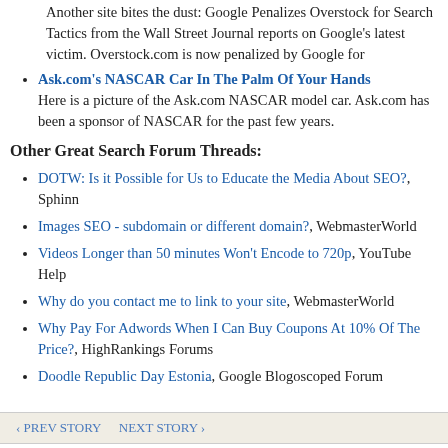Another site bites the dust: Google Penalizes Overstock for Search Tactics from the Wall Street Journal reports on Google's latest victim. Overstock.com is now penalized by Google for
Ask.com's NASCAR Car In The Palm Of Your Hands - Here is a picture of the Ask.com NASCAR model car. Ask.com has been a sponsor of NASCAR for the past few years.
Other Great Search Forum Threads:
DOTW: Is it Possible for Us to Educate the Media About SEO?, Sphinn
Images SEO - subdomain or different domain?, WebmasterWorld
Videos Longer than 50 minutes Won't Encode to 720p, YouTube Help
Why do you contact me to link to your site, WebmasterWorld
Why Pay For Adwords When I Can Buy Coupons At 10% Of The Price?, HighRankings Forums
Doodle Republic Day Estonia, Google Blogoscoped Forum
< PREV STORY   NEXT STORY >